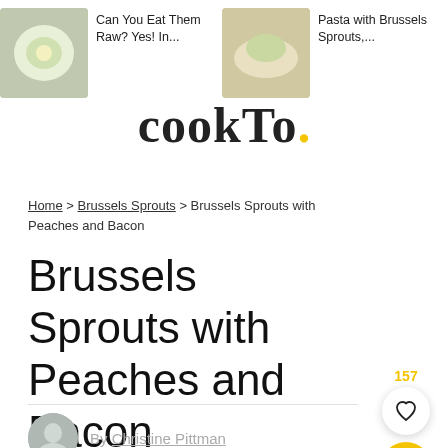Can You Eat Them Raw? Yes! In... | Pasta with Brussels Sprouts,... | Braised Brussels Sprouts w...
Brussels Sprouts with Peaches and Bacon
Home > Brussels Sprouts > Brussels Sprouts with Peaches and Bacon
By Christine Pittman
157